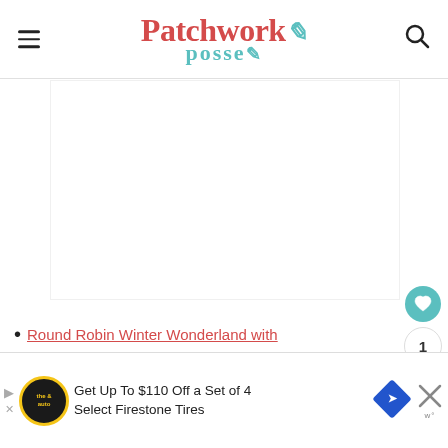Patchwork Posse
[Figure (illustration): Large white/blank content area representing a main article image placeholder]
Round Robin Winter Wonderland with
[Figure (infographic): Advertisement banner: Get Up To $110 Off a Set of 4 Select Firestone Tires, with The Auto logo, a road sign diamond icon, and a close button]